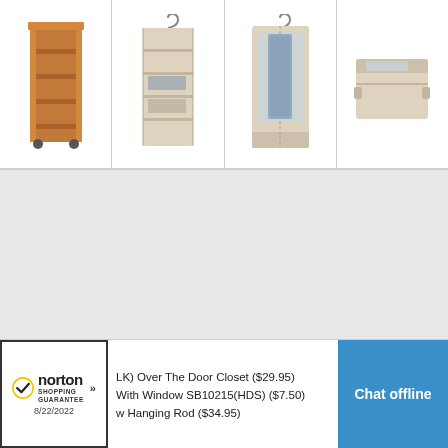[Figure (photo): Four product thumbnails in a horizontal grid: (1) wooden rolling shoe shelf/rack in cherry finish, (2) beige fabric hanging closet organizer with shelves, (3) beige fabric garment bag with clear window panel, (4) beige fabric under-bed storage box with clear window lid]
[Figure (screenshot): Norton Shopping Guarantee badge with checkmark, dated 8/22/2022]
LK) Over The Door Closet ($29.95)
With Window SB10215(HDS) ($7.50)
w Hanging Rod ($34.95)
Chat offline